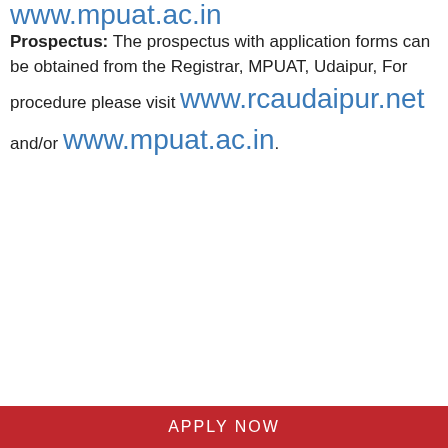www.mpuat.ac.in (partial, top cut off)
Prospectus: The prospectus with application forms can be obtained from the Registrar, MPUAT, Udaipur, For procedure please visit www.rcaudaipur.net and/or www.mpuat.ac.in.
APPLY NOW